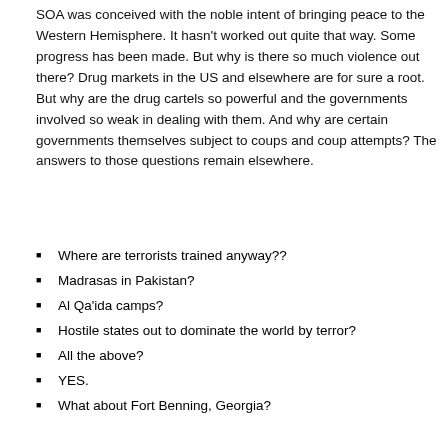SOA was conceived with the noble intent of bringing peace to the Western Hemisphere. It hasn't worked out quite that way. Some progress has been made. But why is there so much violence out there? Drug markets in the US and elsewhere are for sure a root. But why are the drug cartels so powerful and the governments involved so weak in dealing with them. And why are certain governments themselves subject to coups and coup attempts? The answers to those questions remain elsewhere.
Where are terrorists trained anyway??
Madrasas in Pakistan?
Al Qa'ida camps?
Hostile states out to dominate the world by terror?
All the above?
YES.
What about Fort Benning, Georgia?
Few of us among the American public would reply: YES. And they too would be right, unfortunately.
[ Read More ]
Posted by RoadToPeace on Thursday, November 2
Rate this article: ▲ | (current rating: 46) No co
USA: Metaphor for Violence